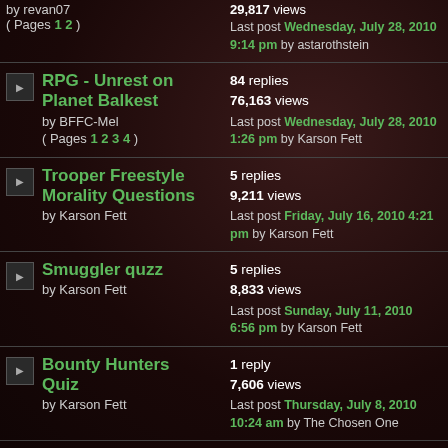by revan07 ( Pages 1 2 ) | 29,817 views Last post Wednesday, July 28, 2010 9:14 pm by astarothstein
RPG - Unrest on Planet Balkest by BFFC-Mel ( Pages 1 2 3 4 ) | 84 replies 76,163 views Last post Wednesday, July 28, 2010 1:26 pm by Karson Fett
Trooper Freestyle Morality Questions by Karson Fett | 5 replies 9,211 views Last post Friday, July 16, 2010 4:21 pm by Karson Fett
Smuggler quzz by Karson Fett | 5 replies 8,833 views Last post Sunday, July 11, 2010 6:56 pm by Karson Fett
Bounty Hunters Quiz by Karson Fett | 1 reply 7,606 views Last post Thursday, July 8, 2010 10:24 am by The Chosen One